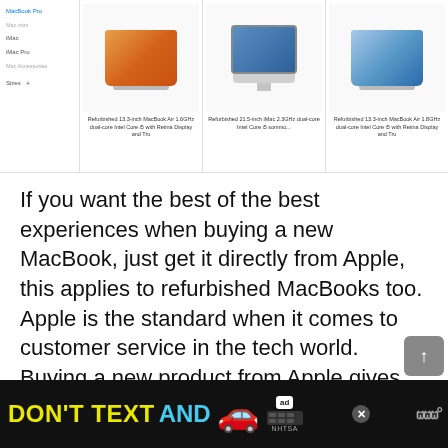[Figure (screenshot): Screenshot of Apple refurbished store product listing showing three Mac products: Refurbished 13.3-inch MacBook Air 1.6GHz dual-core Intel Core i5 with Retina Display, Refurbished 21.5-inch iMac 2.3GHz dual-core Intel Core i5, and Refurbished 13.3-inch MacBook Air 1.8GHz dual-core Intel Core i5 with Retina Display. Left sidebar shows navigation items including MacBook Pro, Mac mini, iMac Pro, Mac Accessories, and Sizes filter.]
If you want the best of the best experiences when buying a new MacBook, just get it directly from Apple, this applies to refurbished MacBooks too. Apple is the standard when it comes to customer service in the tech world. Buying a new product from Apple gives you peace of mind, it makes you feel safe about your purchase. Apple provides the same service and cares for customers that buy refurbished products from Apple.
[Figure (screenshot): Advertisement banner at bottom of page with black background. Text reads 'DON'T TEXT AND' in yellow/cyan bold letters followed by a red car emoji, an 'ad' badge, and NHTSA logo. A close (X) button and WeatherBug logo appear on the right.]